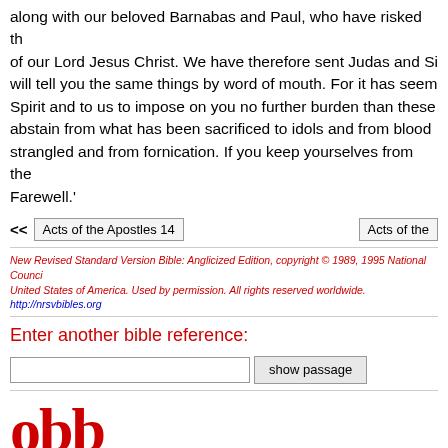along with our beloved Barnabas and Paul, who have risked their lives for the name of our Lord Jesus Christ. We have therefore sent Judas and Silas, who themselves will tell you the same things by word of mouth. For it has seemed good to the Holy Spirit and to us to impose on you no further burden than these essentials: that you abstain from what has been sacrificed to idols and from blood and from what is strangled and from fornication. If you keep yourselves from these, you will do well. Farewell.'
<< Acts of the Apostles 14    Acts of the...
New Revised Standard Version Bible: Anglicized Edition, copyright © 1989, 1995 National Council of the Churches of Christ in the United States of America. Used by permission. All rights reserved worldwide. http://nrsvbibles.org
Enter another bible reference:
show passage
[Figure (logo): obb bible browser logo in red serif font]
biblemail@oremus.org
v 2.9.2
30 June 2021